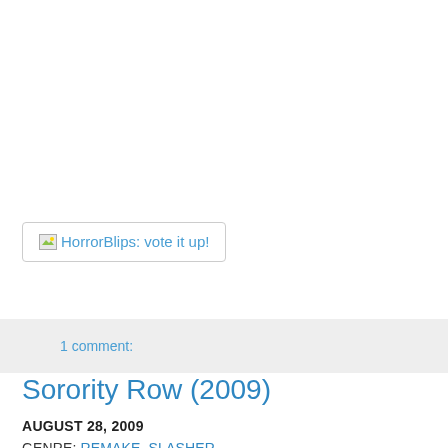[Figure (other): Broken image placeholder with text 'HorrorBlips: vote it up!' inside a bordered box]
1 comment:
Sorority Row (2009)
AUGUST 28, 2009
GENRE: REMAKE, SLASHER